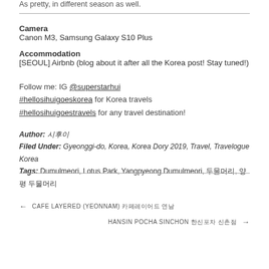As pretty, in different season as well.
Camera
Canon M3, Samsung Galaxy S10 Plus
Accommodation
[SEOUL] Airbnb (blog about it after all the Korea post! Stay tuned!)
Follow me: IG @superstarhui
#hellosihuigoeskorea for Korea travels
#hellosihuigoestravels for any travel destination!
Author: 시후이
Filed Under: Gyeonggi-do, Korea, Korea Dory 2019, Travel, Travelogue Korea
Tags: Dumulmeori, Lotus Park, Yangpyeong Dumulmeori, 두물머리, 양평 두물머리
← CAFE LAYERED (YEONNAM) 카페레이어드 연남
HANSIN POCHA SINCHON 한신포차 신촌점 →